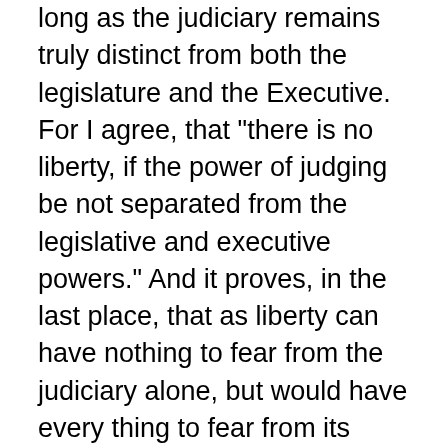long as the judiciary remains truly distinct from both the legislature and the Executive. For I agree, that "there is no liberty, if the power of judging be not separated from the legislative and executive powers." And it proves, in the last place, that as liberty can have nothing to fear from the judiciary alone, but would have every thing to fear from its union with either of the other departments; that as all the effects of such a union must ensue from a dependence of the former on the latter, notwithstanding a nominal and apparent separation; that as, from the natural feebleness of the judiciary, it is in continual jeopardy of being overpowered, awed, or influenced by its co-ordinate branches; and that as nothing can contribute so much to its firmness and independence as permanency in office, this quality may therefore be justly regarded as an indispensable ingredient in its constitution, and, in a great measure, as the citadel of the public justice and the public security.